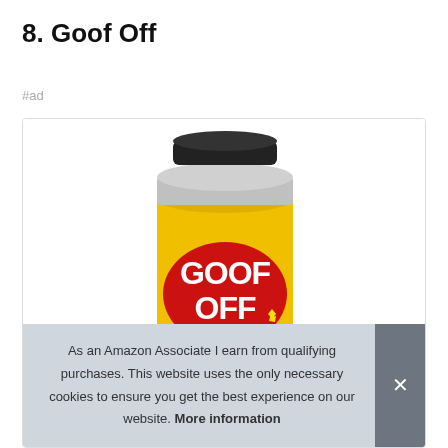8. Goof Off
#ad
[Figure (photo): A yellow can of Goof Off adhesive remover product with a black cap, showing the GOOF OFF brand name prominently on a red oval label, with product usage tags at the bottom including asphalt & tar, adhesive & glue, latex paint.]
As an Amazon Associate I earn from qualifying purchases. This website uses the only necessary cookies to ensure you get the best experience on our website. More information